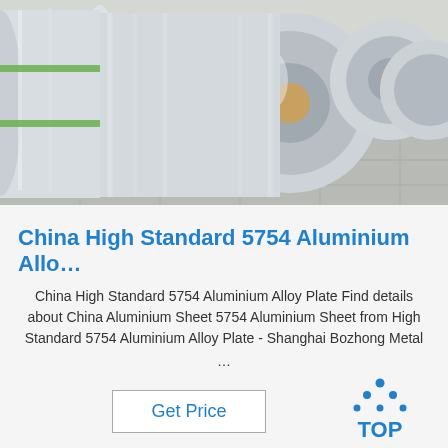[Figure (photo): Large rolls of aluminum alloy sheet/coil on wooden pallets in an industrial warehouse setting. The rolls are shiny silver metallic color with green tape wrappings.]
China High Standard 5754 Aluminium Allo…
China High Standard 5754 Aluminium Alloy Plate Find details about China Aluminium Sheet 5754 Aluminium Sheet from High Standard 5754 Aluminium Alloy Plate - Shanghai Bozhong Metal ...
[Figure (logo): TOP logo with blue dots arranged in a triangle above the text TOP in blue letters]